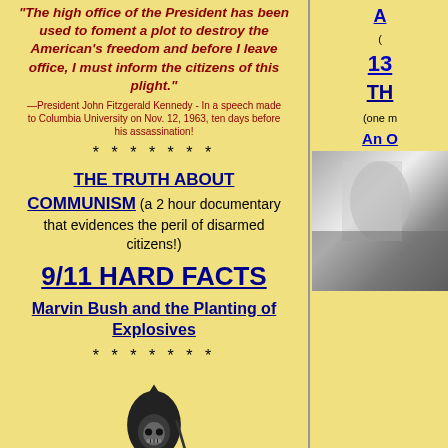“The high office of the President has been used to foment a plot to destroy the American’s freedom and before I leave office, I must inform the citizens of this plight.”
—President John Fitzgerald Kennedy - In a speech made to Columbia University on Nov. 12, 1963, ten days before his assassination!
* * * * * * *
THE TRUTH ABOUT COMMUNISM (a 2 hour documentary that evidences the peril of disarmed citizens!)
9/11 HARD FACTS
Marvin Bush and the Planting of Explosives
* * * * * * *
[Figure (illustration): Grim reaper illustration in black and white]
A (
13
TH
(one m
An O
[Figure (photo): Black and white photo on right side]